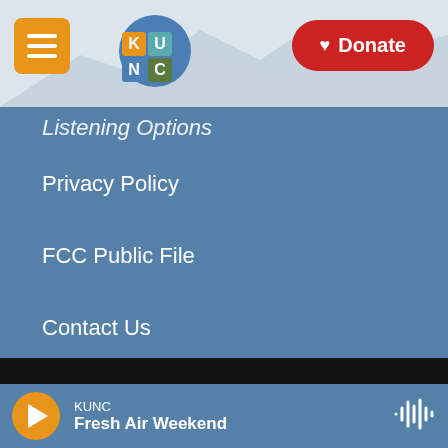KUNC - Listening Options, Privacy Policy, FCC Public File, Contact Us, Manage Your Membership, Colorado Sound
[Figure (logo): KUNC radio station logo with colorful K-U-N-C letters in blue, orange, and green]
Listening Options
Privacy Policy
FCC Public File
Contact Us
Manage Your Membership
Colorado Sound
[Figure (logo): NPR logo in white text on dark background]
KUNC
Fresh Air Weekend